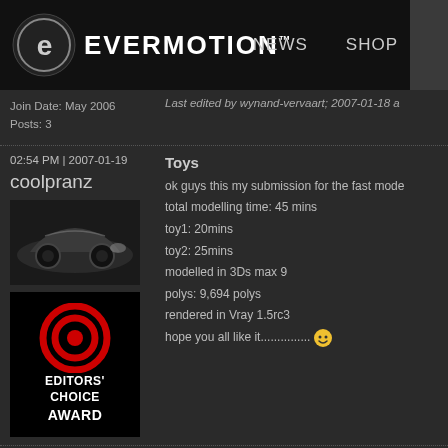EVERMOTION™   NEWS   SHOP
Join Date: May 2006
Posts: 3
Last edited by wynand-vervaart; 2007-01-18 a
02:54 PM | 2007-01-19
coolpranz
[Figure (photo): Photo of a silver BMW car rendered in 3D]
[Figure (logo): Editors' Choice Award badge with red bullseye target icon and text EDITORS' CHOICE AWARD]
Toys
ok guys this my submission for the fast mode
total modelling time: 45 mins
toy1: 20mins
toy2: 25mins
modelled in 3Ds max 9
polys: 9,694 polys
rendered in Vray 1.5rc3
hope you all like it...............
Join Date: Jul 2006
Posts: 1,336